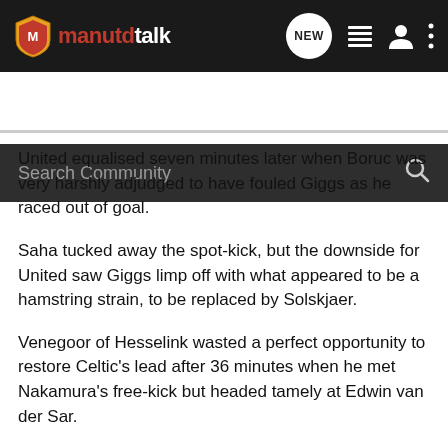manutdtalk — NEW
Search Community
United equalised seven minutes later when Boruc was very harshly adjudged to have fouled Giggs as he raced out of goal.
Saha tucked away the spot-kick, but the downside for United saw Giggs limp off with what appeared to be a hamstring strain, to be replaced by Solskjaer.
Venegoor of Hesselink wasted a perfect opportunity to restore Celtic's lead after 36 minutes when he met Nakamura's free-kick but headed tamely at Edwin van der Sar.
United made Celtic pay for their generosity shortly after when they went ahead through Saha.
Gravesen lost possession to Scholes, and he delivered an